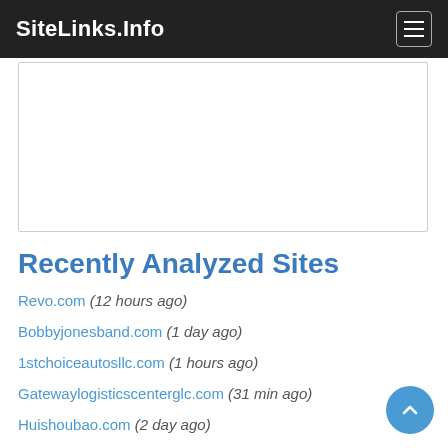SiteLinks.Info
[Figure (other): Advertisement placeholder box with white background and light gray border]
Recently Analyzed Sites
Revo.com (12 hours ago)
Bobbyjonesband.com (1 day ago)
1stchoiceautosllc.com (1 hours ago)
Gatewaylogisticscenterglc.com (31 min ago)
Huishoubao.com (2 day ago)
M1file.com (4 day ago)